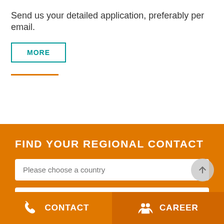Send us your detailed application, preferably per email.
MORE
FIND YOUR REGIONAL CONTACT
Please choose a country
Please select a region
CONTACT
CAREER